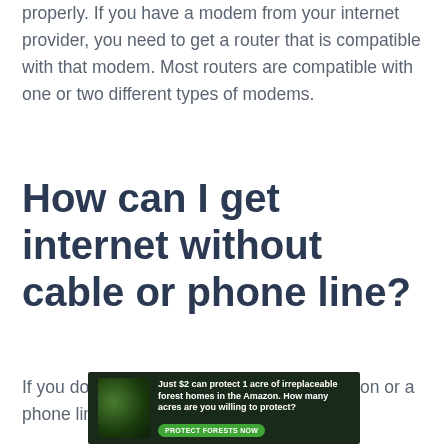properly. If you have a modem from your internet provider, you need to get a router that is compatible with that modem. Most routers are compatible with one or two different types of modems.
How can I get internet without cable or phone line?
If you don't have access to a cable connection or a phone line, you can still get internet by
[Figure (other): Advertisement banner: dark forest background with text 'Just $2 can protect 1 acre of irreplaceable forest homes in the Amazon. How many acres are you willing to protect?' and a green 'PROTECT FORESTS NOW' button.]